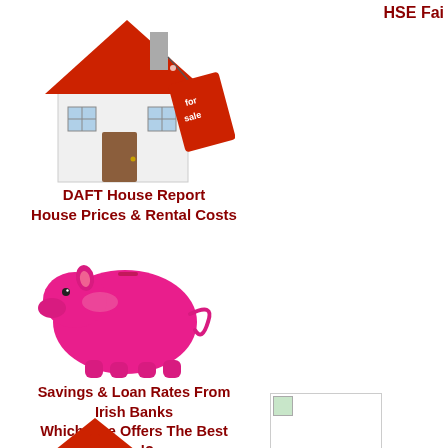[Figure (illustration): House with red roof and a red 'for sale' tag hanging from it]
DAFT House Report
House Prices & Rental Costs
[Figure (illustration): Pink piggy bank]
Savings & Loan Rates From Irish Banks
Which One Offers The Best Deal?
HSE Fai
[Figure (illustration): Red and white warning triangle (caution sign)]
[Figure (illustration): Small placeholder image with green icon]